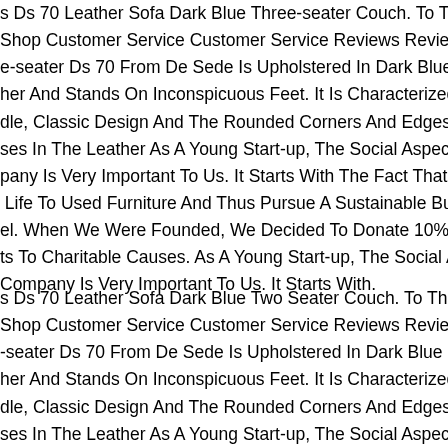s Ds 70 Leather Sofa Dark Blue Three-seater Couch. To The Shop Shop Customer Service Customer Service Reviews Reviews The e-seater Ds 70 From De Sede Is Upholstered In Dark Blue Real her And Stands On Inconspicuous Feet. It Is Characterized By The dle, Classic Design And The Rounded Corners And Edges. Slight ses In The Leather As A Young Start-up, The Social Aspect Of Our pany Is Very Important To Us. It Starts With The Fact That We Give Life To Used Furniture And Thus Pursue A Sustainable Business el. When We Were Founded, We Decided To Donate 10% Of Our ts To Charitable Causes. As A Young Start-up, The Social Aspect Company Is Very Important To Us. It Starts With.
s Ds 70 Leather Sofa Dark Blue Two Seater Couch. To The Shop Shop Customer Service Customer Service Reviews Reviews The -seater Ds 70 From De Sede Is Upholstered In Dark Blue Real her And Stands On Inconspicuous Feet. It Is Characterized By The dle, Classic Design And The Rounded Corners And Edges. Slight ses In The Leather As A Young Start-up, The Social Aspect Of Our pany Is Very Important To Us. It Starts With The Fact That We Gi